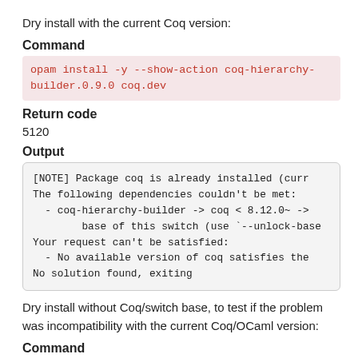Dry install with the current Coq version:
Command
opam install -y --show-action coq-hierarchy-builder.0.9.0 coq.dev
Return code
5120
Output
[NOTE] Package coq is already installed (curr
The following dependencies couldn't be met:
  - coq-hierarchy-builder -> coq < 8.12.0~ ->
        base of this switch (use `--unlock-base
Your request can't be satisfied:
  - No available version of coq satisfies the
No solution found, exiting
Dry install without Coq/switch base, to test if the problem was incompatibility with the current Coq/OCaml version:
Command